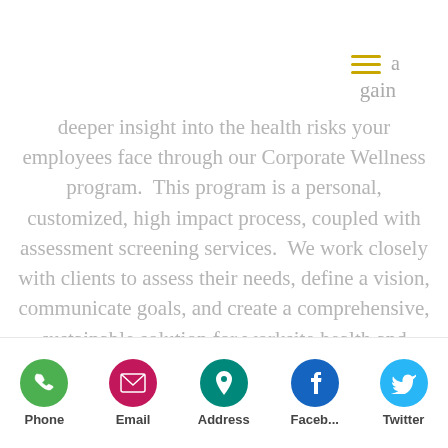[Figure (other): Hamburger menu icon with three horizontal yellow/gold lines, followed by the letter 'a' in gray]
gain
deeper insight into the health risks your employees face through our Corporate Wellness program.  This program is a personal, customized, high impact process, coupled with assessment screening services.  We work closely with clients to assess their needs, define a vision, communicate goals, and create a comprehensive, sustainable solution for worksite health and wellness.
DTR uses a professional segmental body composition analyzer used extensively in clinical research, widely published results.  This state-of- the-art multi frequency
[Figure (infographic): Mobile app bottom navigation bar with icons: Phone (green), Email (pink/magenta), Address (teal), Faceb... (blue Facebook), Twitter (light blue). Icons are colored circles with white symbols inside.]